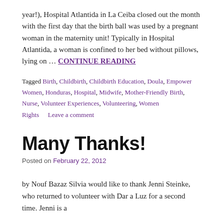year!), Hospital Atlantida in La Ceiba closed out the month with the first day that the birth ball was used by a pregnant woman in the maternity unit! Typically in Hospital Atlantida, a woman is confined to her bed without pillows, lying on … CONTINUE READING
Tagged Birth, Childbirth, Childbirth Education, Doula, Empower Women, Honduras, Hospital, Midwife, Mother-Friendly Birth, Nurse, Volunteer Experiences, Volunteering, Women Rights   Leave a comment
Many Thanks!
Posted on February 22, 2012
by Nouf Bazaz Silvia would like to thank Jenni Steinke, who returned to volunteer with Dar a Luz for a second time. Jenni is a